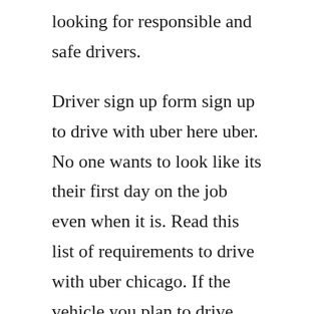looking for responsible and safe drivers.
Driver sign up form sign up to drive with uber here uber. No one wants to look like its their first day on the job even when it is. Read this list of requirements to drive with uber chicago. If the vehicle you plan to drive with uber meets your citys requirements, the next step is to arrange a vehicle inspection to confirm it is roadworthy. Here are some basic requirements, tips, and guidelines on how to be an uber driver. Depending on where you live you may not even need a car. Pros of